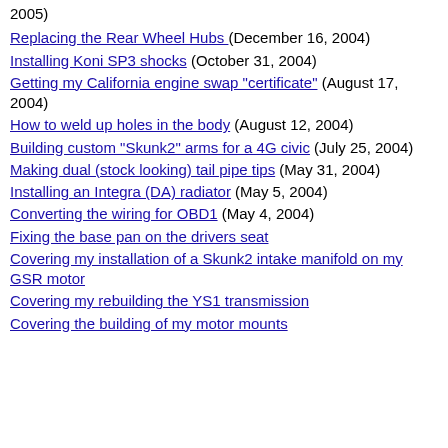2005)
Replacing the Rear Wheel Hubs (December 16, 2004)
Installing Koni SP3 shocks (October 31, 2004)
Getting my California engine swap "certificate" (August 17, 2004)
How to weld up holes in the body (August 12, 2004)
Building custom "Skunk2" arms for a 4G civic (July 25, 2004)
Making dual (stock looking) tail pipe tips (May 31, 2004)
Installing an Integra (DA) radiator (May 5, 2004)
Converting the wiring for OBD1 (May 4, 2004)
Fixing the base pan on the drivers seat
Covering my installation of a Skunk2 intake manifold on my GSR motor
Covering my rebuilding the YS1 transmission
Covering the building of my motor mounts